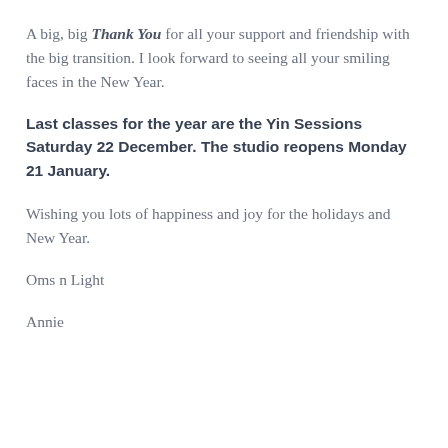A big, big Thank You for all your support and friendship with the big transition. I look forward to seeing all your smiling faces in the New Year.
Last classes for the year are the Yin Sessions Saturday 22 December. The studio reopens Monday 21 January.
Wishing you lots of happiness and joy for the holidays and New Year.
Oms n Light
Annie